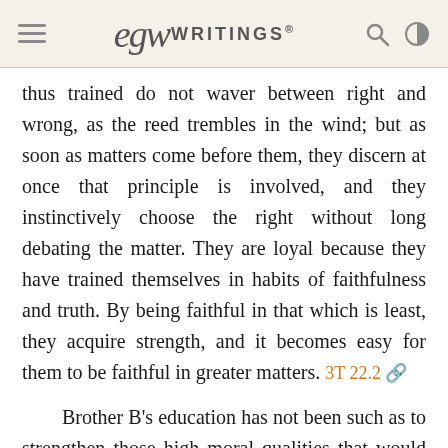EGW WRITINGS®
thus trained do not waver between right and wrong, as the reed trembles in the wind; but as soon as matters come before them, they discern at once that principle is involved, and they instinctively choose the right without long debating the matter. They are loyal because they have trained themselves in habits of faithfulness and truth. By being faithful in that which is least, they acquire strength, and it becomes easy for them to be faithful in greater matters. 3T 22.2
Brother B's education has not been such as to strengthen those high moral qualities that would enable him to stand alone in the strength of God in defense of truth, amid the severest opposition, firm